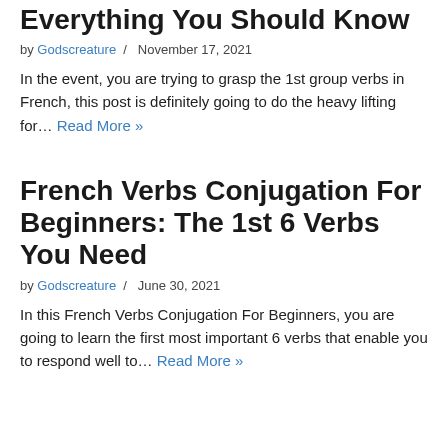Everything You Should Know
by Godscreature / November 17, 2021
In the event, you are trying to grasp the 1st group verbs in French, this post is definitely going to do the heavy lifting for… Read More »
French Verbs Conjugation For Beginners: The 1st 6 Verbs You Need
by Godscreature / June 30, 2021
In this French Verbs Conjugation For Beginners, you are going to learn the first most important 6 verbs that enable you to respond well to… Read More »